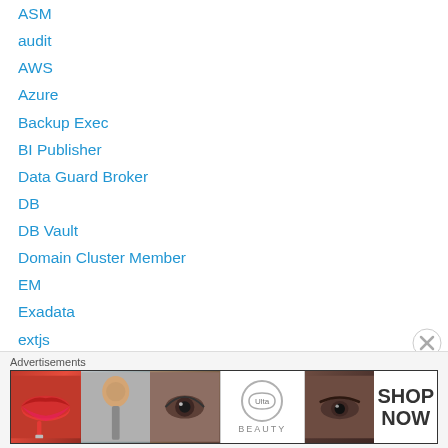ASM
audit
AWS
Azure
Backup Exec
BI Publisher
Data Guard Broker
DB
DB Vault
Domain Cluster Member
EM
Exadata
extjs
FlashGrid
GCP
GI
[Figure (illustration): Advertisement banner for Ulta Beauty showing makeup images (lips, brush, eye, Ulta logo, eyebrows) with SHOP NOW text]